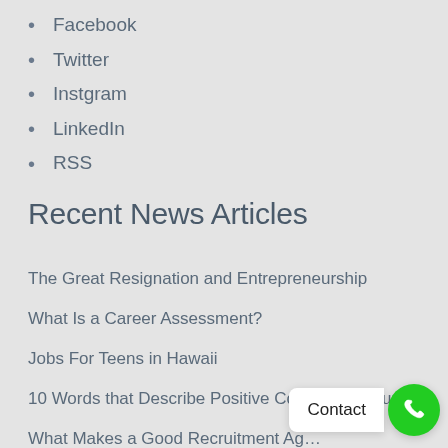Facebook
Twitter
Instgram
LinkedIn
RSS
Recent News Articles
The Great Resignation and Entrepreneurship
What Is a Career Assessment?
Jobs For Teens in Hawaii
10 Words that Describe Positive Company Culture
What Makes a Good Recruitment Ag…
Claiming the Home Office Tax Deduction When Working Remotely